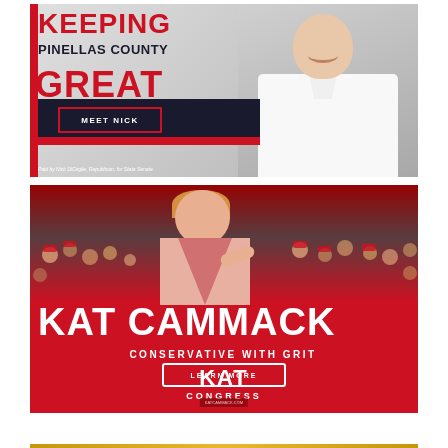[Figure (illustration): Political campaign advertisement for Nick DiCeglie, Republican for State Senate. Text reads 'KEEPING PINELLAS COUNTY GREAT' with a 'MEET NICK' button. Features photo of smiling man in white shirt. Disclaimer: 'Paid by Nick DiCeglie, Republican, for State Senate.']
[Figure (illustration): Political campaign advertisement for Kat Cammack for Congress. Red background with crowd photo. Text reads 'KAT CAMMACK', 'CONSERVATIVE WITH GRIT', KAT CONGRESS logo, and 'LEARN MORE' button.]